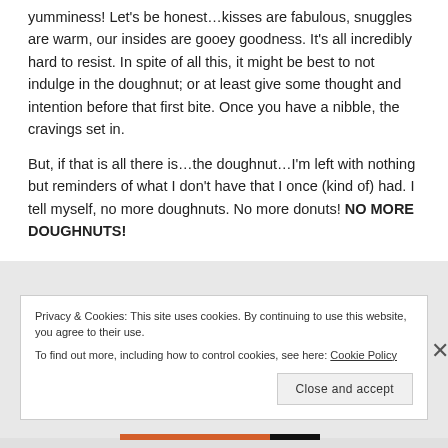yumminess!  Let's be honest…kisses are fabulous, snuggles are warm, our insides are gooey goodness. It's all incredibly hard to resist. In spite of all this, it might be best to not indulge in the doughnut; or at least give some thought and intention before that first bite. Once you have a nibble, the cravings set in.
But, if that is all there is…the doughnut…I'm left with nothing but reminders of what I don't have that I once (kind of) had.  I tell myself, no more doughnuts.  No more donuts!  NO MORE DOUGHNUTS!
Privacy & Cookies: This site uses cookies. By continuing to use this website, you agree to their use.
To find out more, including how to control cookies, see here: Cookie Policy
Close and accept